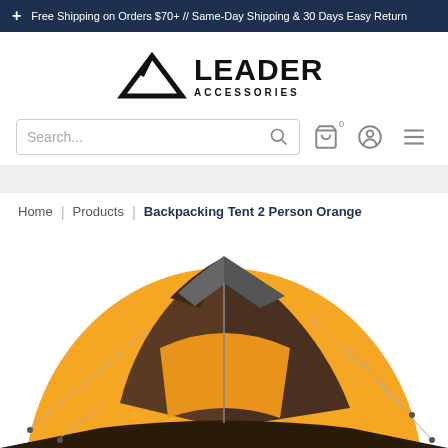+ Free Shipping on Orders $70+ // Same-Day Shipping & 30 Days Easy Return
[Figure (logo): Leader Accessories logo with triangle/mountain icon and bold text]
[Figure (screenshot): Search bar with search icon, cart icon showing 0, user account icon, and hamburger menu icon]
Home | Products | Backpacking Tent 2 Person Orange
[Figure (photo): Orange and dark brown/gray backpacking dome tent for 2 persons, partially visible from upper portion]